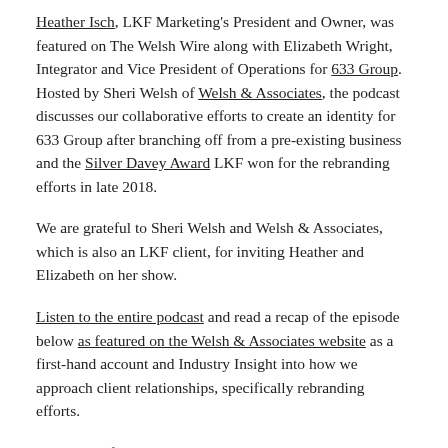Heather Isch, LKF Marketing's President and Owner, was featured on The Welsh Wire along with Elizabeth Wright, Integrator and Vice President of Operations for 633 Group. Hosted by Sheri Welsh of Welsh & Associates, the podcast discusses our collaborative efforts to create an identity for 633 Group after branching off from a pre-existing business and the Silver Davey Award LKF won for the rebranding efforts in late 2018.
We are grateful to Sheri Welsh and Welsh & Associates, which is also an LKF client, for inviting Heather and Elizabeth on her show.
Listen to the entire podcast and read a recap of the episode below as featured on the Welsh & Associates website as a first-hand account and Industry Insight into how we approach client relationships, specifically rebranding efforts.
For more information about LKF and its rebranding